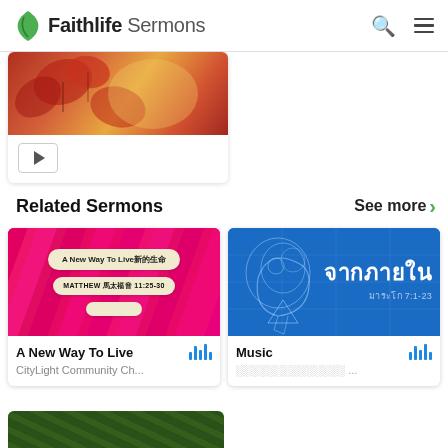Faithlife Sermons
[Figure (screenshot): Partial sermon card with autumn maple leaf thumbnail and video play button]
Related Sermons
See more >
[Figure (screenshot): Sermon card: A New Way To Live - CityLight Community Ch... with Chinese text Matthew 11:25-30 on pink/red zigzag background]
[Figure (screenshot): Sermon card: Music with Thai text on blue blueprint-style background showing heart anatomy sketch]
A New Way To Live
CityLight Community Ch...
Music
░░░░░░░░░░░░░░ ...
[Figure (screenshot): Partial bottom card with dark green leaf/plant texture]